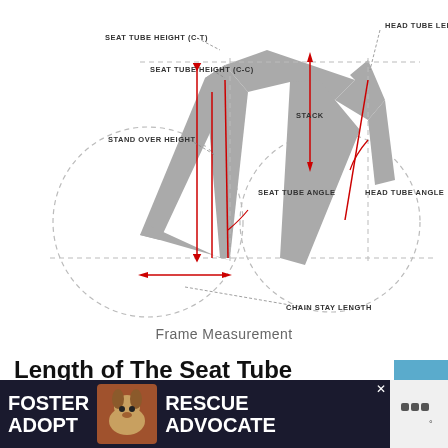[Figure (engineering-diagram): Bicycle frame diagram showing labeled measurements: SEAT TUBE HEIGHT (C-T), HEAD TUBE LENGTH, SEAT TUBE HEIGHT (C-C), STACK, STAND OVER HEIGHT, SEAT TUBE ANGLE, HEAD TUBE ANGLE, CHAIN STAY LENGTH. Red arrows indicate measurement directions on a gray bicycle frame silhouette with dashed wheel circles.]
Frame Measurement
Length of The Seat Tube
In both cases, we associate the size with the measurement of a single element of the frame itself as the seat tube (the vertical one). You will hear about a size 46 bike. Here, we refer to the length in centimeters of the seat tube, from the center of the